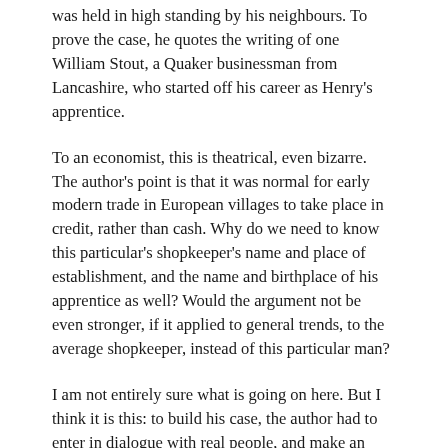was held in high standing by his neighbours. To prove the case, he quotes the writing of one William Stout, a Quaker businessman from Lancashire, who started off his career as Henry's apprentice.
To an economist, this is theatrical, even bizarre. The author's point is that it was normal for early modern trade in European villages to take place in credit, rather than cash. Why do we need to know this particular's shopkeeper's name and place of establishment, and the name and birthplace of his apprentice as well? Would the argument not be even stronger, if it applied to general trends, to the average shopkeeper, instead of this particular man?
I am not entirely sure what is going on here. But I think it is this: to build his case, the author had to enter in dialogue with real people, and make an effort to see things through their eyes. Ethnographers do this by actually spending time with living members of the groups they wish to study; in the case